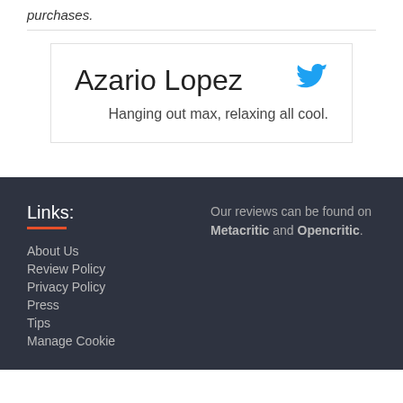purchases.
Azario Lopez
Hanging out max, relaxing all cool.
Links:
About Us
Review Policy
Privacy Policy
Press
Tips
Manage Cookie
Our reviews can be found on Metacritic and Opencritic.